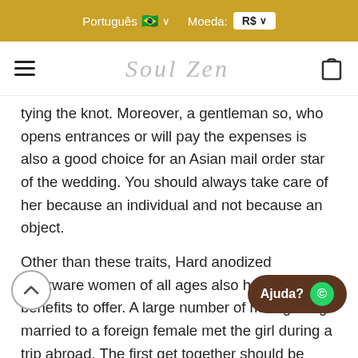Português 🇧🇷 ∨   Moeda: R$
[Figure (logo): Soul Zen logo in cursive/italic grey text with hamburger menu icon on left and shopping bag icon on right]
tying the knot. Moreover, a gentleman so, who opens entrances or will pay the expenses is also a good choice for an Asian mail order star of the wedding. You should always take care of her because an individual and not because an object.
Other than these traits, Hard anodized cookware women of all ages also have lots of benefits to offer. A large number of men getting married to a foreign female met the girl during a trip abroad. The first get together should be international, in a neutral place. In addition , a large number of American males prefer the female with Asian, thereby avoiding the standard years of communication and telephone calls. Aside from simply being more appropriate